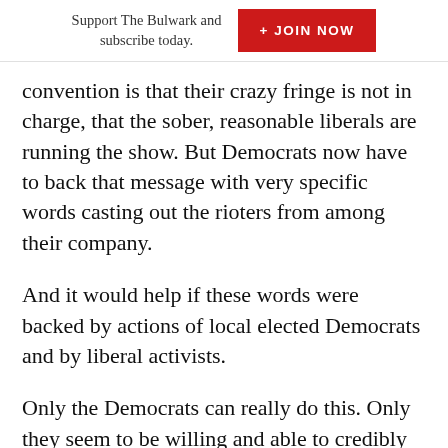Support The Bulwark and subscribe today. + JOIN NOW
convention is that their crazy fringe is not in charge, that the sober, reasonable liberals are running the show. But Democrats now have to back that message with very specific words casting out the rioters from among their company.
And it would help if these words were backed by actions of local elected Democrats and by liberal activists.
Only the Democrats can really do this. Only they seem to be willing and able to credibly recognize the grievances driving these protests. But they